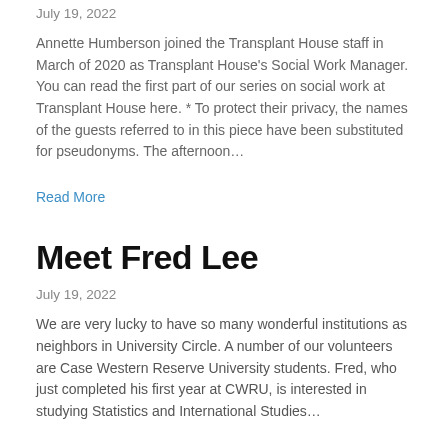July 19, 2022
Annette Humberson joined the Transplant House staff in March of 2020 as Transplant House's Social Work Manager. You can read the first part of our series on social work at Transplant House here. * To protect their privacy, the names of the guests referred to in this piece have been substituted for pseudonyms. The afternoon…
Read More
Meet Fred Lee
July 19, 2022
We are very lucky to have so many wonderful institutions as neighbors in University Circle. A number of our volunteers are Case Western Reserve University students. Fred, who just completed his first year at CWRU, is interested in studying Statistics and International Studies…